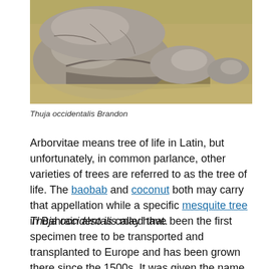[Figure (photo): Photograph of weathered rocks resting on sandy/gravelly ground, with a shadow visible.]
Thuja occidentalis Brandon
Arborvitae means tree of life in Latin, but unfortunately, in common parlance, other varieties of trees are referred to as the tree of life. The baobab and coconut both may carry that appellation while a specific mesquite tree in Bahrain also is called that.
Thuja occidentalis may have been the first specimen tree to be transported and transplanted to Europe and has been grown there since the 1500s. It was given the name Tree of Life when Jacques Cartier learned from the Iroquois that a tea made from its